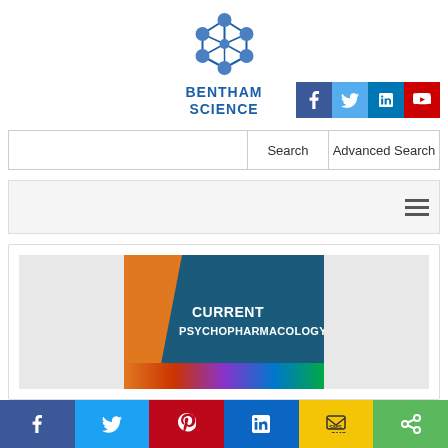[Figure (logo): Bentham Science logo: molecular structure icon above the text BENTHAM SCIENCE in bold blue]
[Figure (infographic): Social media icon buttons: Facebook (dark blue), Twitter (light blue), LinkedIn (blue), YouTube (red)]
[Figure (screenshot): Search bar with Search and Advanced Search buttons]
[Figure (screenshot): Navigation bar with hamburger menu icon on the right]
[Figure (illustration): Journal cover for Current Psychopharmacology with teal/orange/colorful design]
[Figure (infographic): Bottom social sharing bar: Facebook, Twitter, Pinterest, LinkedIn, SMS, Share icons]